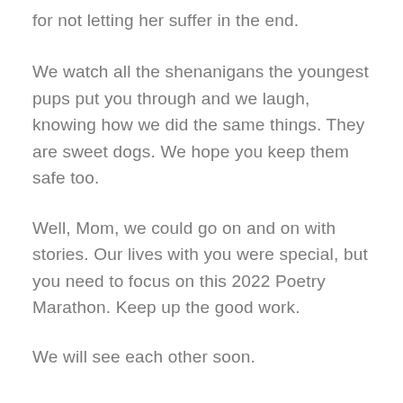for not letting her suffer in the end.
We watch all the shenanigans the youngest pups put you through and we laugh, knowing how we did the same things. They are sweet dogs. We hope you keep them safe too.
Well, Mom, we could go on and on with stories. Our lives with you were special, but you need to focus on this 2022 Poetry Marathon. Keep up the good work.
We will see each other soon.